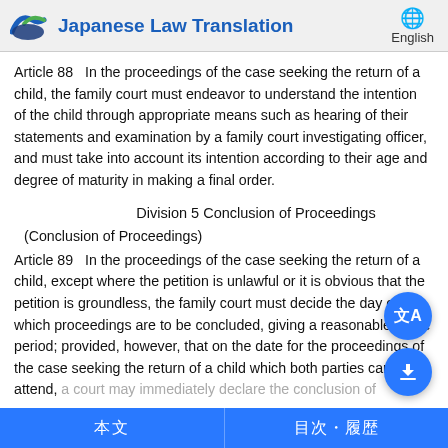Japanese Law Translation | English
Article 88   In the proceedings of the case seeking the return of a child, the family court must endeavor to understand the intention of the child through appropriate means such as hearing of their statements and examination by a family court investigating officer, and must take into account its intention according to their age and degree of maturity in making a final order.
Division 5 Conclusion of Proceedings
(Conclusion of Proceedings)
Article 89   In the proceedings of the case seeking the return of a child, except where the petition is unlawful or it is obvious that the petition is groundless, the family court must decide the day on which proceedings are to be concluded, giving a reasonable grace period; provided, however, that on the date for the proceedings of the case seeking the return of a child which both parties can attend, a court may immediately declare the conclusion of...